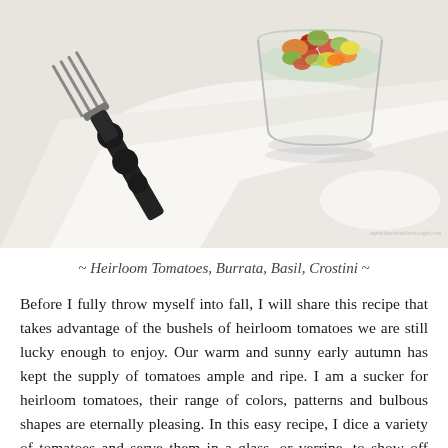[Figure (photo): A glass bowl filled with diced colorful heirloom tomatoes (red, orange, green, yellow) served as a verrine, placed on a white textured cloth/napkin with a decorative black fork resting beside it.]
~ Heirloom Tomatoes, Burrata, Basil, Crostini ~
Before I fully throw myself into fall, I will share this recipe that takes advantage of the bushels of heirloom tomatoes we are still lucky enough to enjoy. Our warm and sunny early autumn has kept the supply of tomatoes ample and ripe. I am a sucker for heirloom tomatoes, their range of colors, patterns and bulbous shapes are eternally pleasing. In this easy recipe, I dice a variety of tomatoes and serve them in a glass, or verrine, to show off their colors. A dollop of creamy burrata and drizzle of aged balsamic vinegar results in a savory parfait that is as beautiful to